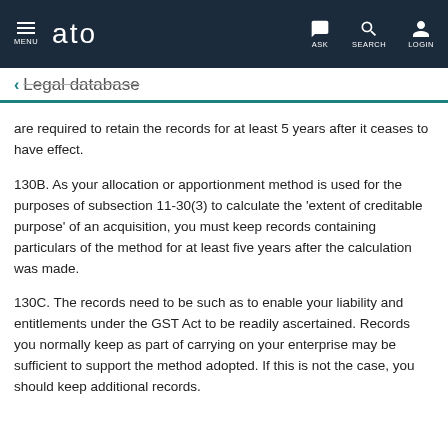MENU  ato  ASK  SEARCH  LOGIN
← Legal database
are required to retain the records for at least 5 years after it ceases to have effect.
130B. As your allocation or apportionment method is used for the purposes of subsection 11-30(3) to calculate the 'extent of creditable purpose' of an acquisition, you must keep records containing particulars of the method for at least five years after the calculation was made.
130C. The records need to be such as to enable your liability and entitlements under the GST Act to be readily ascertained. Records you normally keep as part of carrying on your enterprise may be sufficient to support the method adopted. If this is not the case, you should keep additional records.